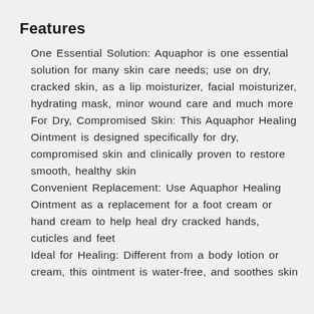Features
One Essential Solution: Aquaphor is one essential solution for many skin care needs; use on dry, cracked skin, as a lip moisturizer, facial moisturizer, hydrating mask, minor wound care and much more
For Dry, Compromised Skin: This Aquaphor Healing Ointment is designed specifically for dry, compromised skin and clinically proven to restore smooth, healthy skin
Convenient Replacement: Use Aquaphor Healing Ointment as a replacement for a foot cream or hand cream to help heal dry cracked hands, cuticles and feet
Ideal for Healing: Different from a body lotion or cream, this ointment is water-free, and soothes skin with…